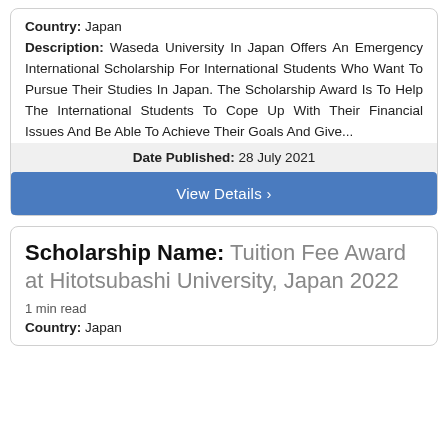Country: Japan
Description: Waseda University In Japan Offers An Emergency International Scholarship For International Students Who Want To Pursue Their Studies In Japan. The Scholarship Award Is To Help The International Students To Cope Up With Their Financial Issues And Be Able To Achieve Their Goals And Give...
Date Published: 28 July 2021
View Details >
Scholarship Name: Tuition Fee Award at Hitotsubashi University, Japan 2022
1 min read
Country: Japan